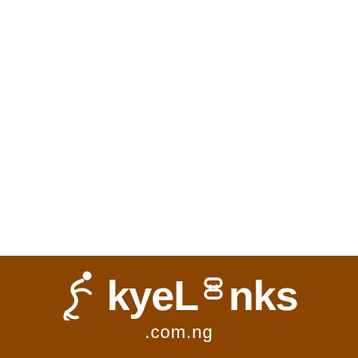[Figure (logo): SkyeLinks logo with white icon of a figure and chain link on brown background, text reads SkyeLinks .com.ng]
SkyeLinks .com.ng